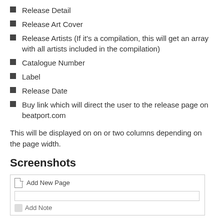Release Detail
Release Art Cover
Release Artists (If it's a compilation, this will get an array with all artists included in the compilation)
Catalogue Number
Label
Release Date
Buy link which will direct the user to the release page on beatport.com
This will be displayed on on or two columns depending on the page width.
Screenshots
[Figure (screenshot): Screenshot showing an 'Add New Page' interface element with a text input field and an Add Note button below.]